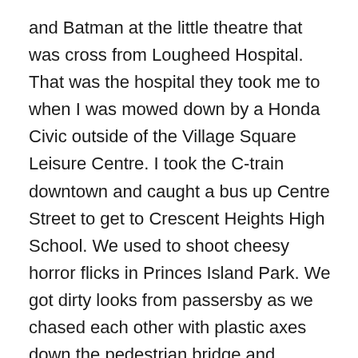and Batman at the little theatre that was cross from Lougheed Hospital. That was the hospital they took me to when I was mowed down by a Honda Civic outside of the Village Square Leisure Centre. I took the C-train downtown and caught a bus up Centre Street to get to Crescent Heights High School. We used to shoot cheesy horror flicks in Princes Island Park. We got dirty looks from passersby as we chased each other with plastic axes down the pedestrian bridge and dumped buckets of fake blood in the grass. We would sneak out in twelfth grade, slide over to the Studio Cafe for cappuccino and cigarettes and write mad, bullshit, teen poetry. I lived in Falconridge and Pineridge and waaaay north in Sandstone, when Sandstone was as far North as you could go. I went to the U of C, took classes at SAIT and Mount Royal. I worked for nearly a decade at the historic North Hill Cinerama,